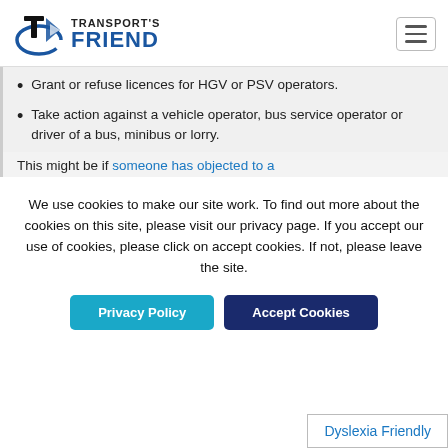Transport's Friend
Grant or refuse licences for HGV or PSV operators.
Take action against a vehicle operator, bus service operator or driver of a bus, minibus or lorry.
This might be if someone has objected to a
We use cookies to make our site work. To find out more about the cookies on this site, please visit our privacy page. If you accept our use of cookies, please click on accept cookies. If not, please leave the site.
Privacy Policy | Accept Cookies
Dyslexia Friendly